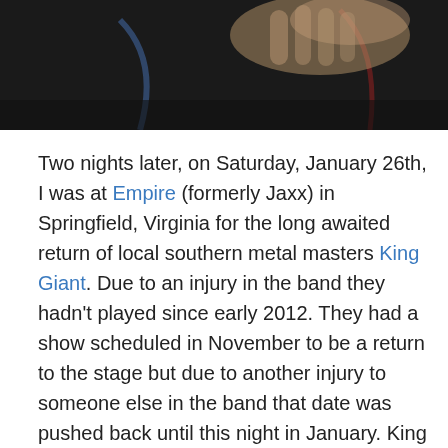[Figure (photo): Close-up photo of hands near musical instrument cables and equipment, dark background]
Two nights later, on Saturday, January 26th, I was at Empire (formerly Jaxx) in Springfield, Virginia for the long awaited return of local southern metal masters King Giant. Due to an injury in the band they hadn't played since early 2012. They had a show scheduled in November to be a return to the stage but due to another injury to someone else in the band that date was pushed back until this night in January. King Giant always draws well, and this night wasn't any different, though I know the fact that Graveyard was playing at the Black Cat the same night had to have affected the attendance at both shows somewhat. I'd have liked to have seen both but since I saw Graveyard at DC9 last year and I always like to support locals I decided to go